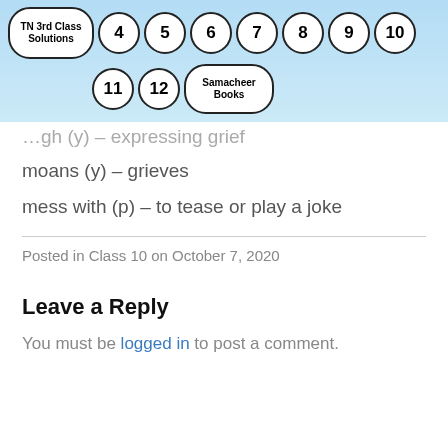TN 3rd Class Solutions | 4 | 5 | 6 | 7 | 8 | 9 | 10 | 11 | 12 | Samacheer Books
…gh (y) – expressing grief
moans (y) – grieves
mess with (p) – to tease or play a joke
Posted in Class 10 on October 7, 2020
Leave a Reply
You must be logged in to post a comment.